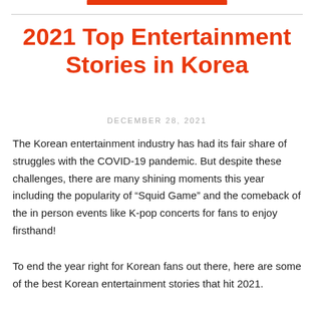2021 Top Entertainment Stories in Korea
DECEMBER 28, 2021
The Korean entertainment industry has had its fair share of struggles with the COVID-19 pandemic. But despite these challenges, there are many shining moments this year including the popularity of “Squid Game” and the comeback of the in person events like K-pop concerts for fans to enjoy firsthand!
To end the year right for Korean fans out there, here are some of the best Korean entertainment stories that hit 2021.